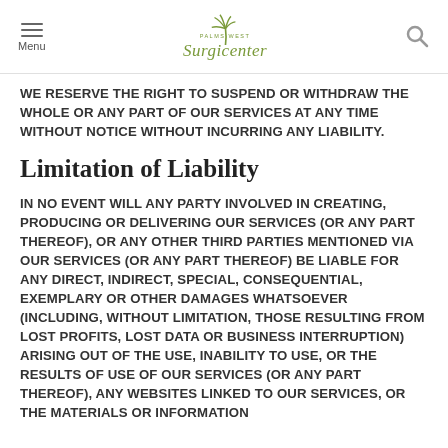Menu | Palms West Surgicenter | Search
WE RESERVE THE RIGHT TO SUSPEND OR WITHDRAW THE WHOLE OR ANY PART OF OUR SERVICES AT ANY TIME WITHOUT NOTICE WITHOUT INCURRING ANY LIABILITY.
Limitation of Liability
IN NO EVENT WILL ANY PARTY INVOLVED IN CREATING, PRODUCING OR DELIVERING OUR SERVICES (OR ANY PART THEREOF), OR ANY OTHER THIRD PARTIES MENTIONED VIA OUR SERVICES (OR ANY PART THEREOF) BE LIABLE FOR ANY DIRECT, INDIRECT, SPECIAL, CONSEQUENTIAL, EXEMPLARY OR OTHER DAMAGES WHATSOEVER (INCLUDING, WITHOUT LIMITATION, THOSE RESULTING FROM LOST PROFITS, LOST DATA OR BUSINESS INTERRUPTION) ARISING OUT OF THE USE, INABILITY TO USE, OR THE RESULTS OF USE OF OUR SERVICES (OR ANY PART THEREOF), ANY WEBSITES LINKED TO OUR SERVICES, OR THE MATERIALS OR INFORMATION